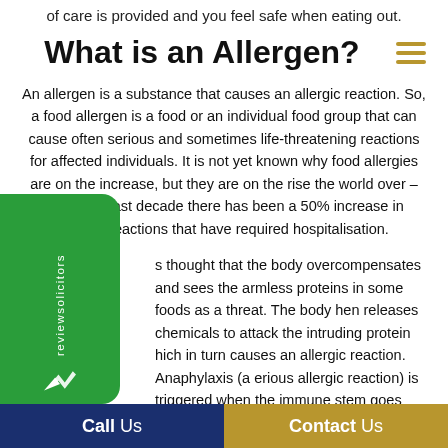of care is provided and you feel safe when eating out.
What is an Allergen?
An allergen is a substance that causes an allergic reaction. So, a food allergen is a food or an individual food group that can cause often serious and sometimes life-threatening reactions for affected individuals. It is not yet known why food allergies are on the increase, but they are on the rise the world over – within the last decade there has been a 50% increase in allergic reactions that have required hospitalisation.
s thought that the body overcompensates and sees the armless proteins in some foods as a threat. The body hen releases chemicals to attack the intruding protein hich in turn causes an allergic reaction. Anaphylaxis (a erious allergic reaction) is triggered when the immune stem goes into overdrive and releases huge amounts of
[Figure (logo): ReviewSolicitors green badge logo with white text and bird/wing icon]
Call Us   Contact Us